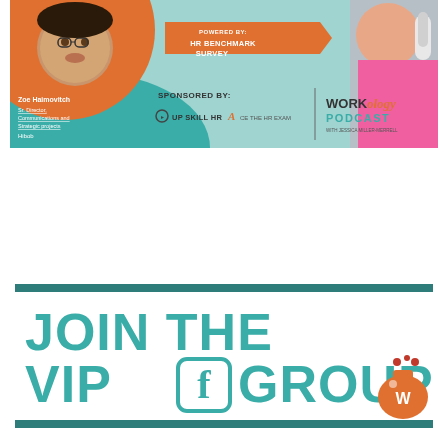[Figure (infographic): Workology Podcast banner featuring Zoe Haimovitch, Sr. Director Communications and Strategic Projects at Hibob. Powered by HR Benchmark Survey. Sponsored by Up Skill HR and Ace the HR Exam. Two people visible on left and right sides of banner.]
[Figure (infographic): JOIN THE VIP Facebook GROUP promotional banner with teal text on white background, bordered by dark teal horizontal bars, with Workology flask logo on the right.]